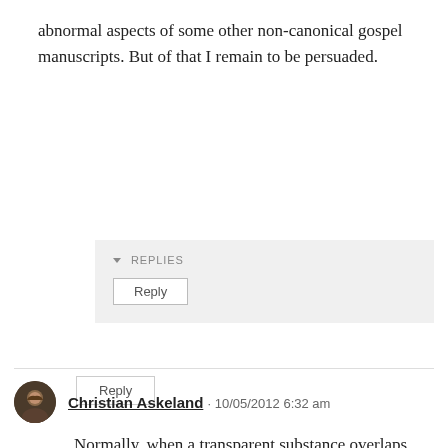abnormal aspects of some other non-canonical gospel manuscripts. But of that I remain to be persuaded.
Reply
REPLIES
Reply
Christian Askeland · 10/05/2012 6:32 am
Normally, when a transparent substance overlaps something, it obscures it and does not intensify it. If this organic material were on top of the ink, I expect that the ink would be less visible and not more.